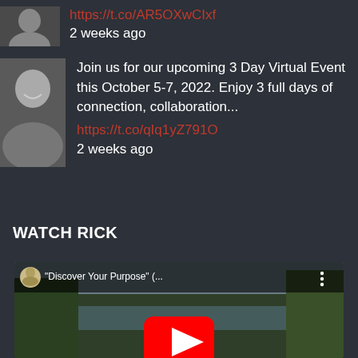https://t.co/AR5OXwCIxf
2 weeks ago
[Figure (photo): Small profile photo of a man in dark clothing, cropped head and shoulders]
[Figure (photo): Profile photo of a smiling middle-aged man in dark jacket]
Join us for our upcoming 3 Day Virtual Event this October 5-7, 2022. Enjoy 3 full days of connection, collaboration...
https://t.co/qIq1yZ7910
2 weeks ago
WATCH RICK
[Figure (screenshot): YouTube video thumbnail showing a person outdoors near a lake with trees. Video title shows "Discover Your Purpose" (... with a three-dot menu. A large red YouTube play button is centered over the image.]